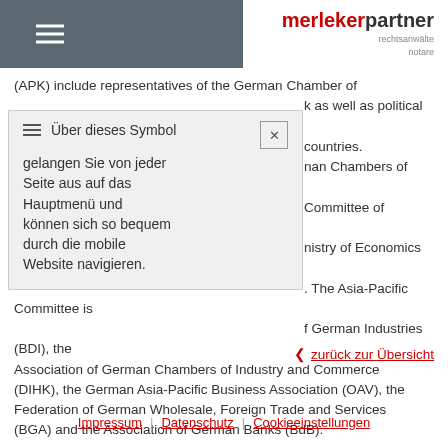merlekerpartner rechtsanwälte notare
Über dieses Symbol gelangen Sie von jeder Seite aus auf das Hauptmenü und können sich so bequem durch die mobile Website navigieren.
(APK) include representatives of the German Chamber of ... k as well as political leaders, ... countries. ... nan Chambers of Commerce ... Committee of German Business ... nistry of Economics and ... . The Asia-Pacific Committee is ... f German Industries (BDI), the Association of German Chambers of Industry and Commerce (DIHK), the German Asia-Pacific Business Association (OAV), the Federation of German Wholesale, Foreign Trade and Services (BGA) and the Association of German Banks (BdB).
zurück zur Übersicht
Impressum | Datenschutz | Cookieeinstellungen